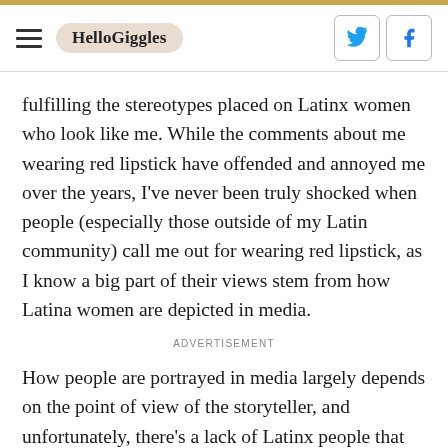HelloGiggles
fulfilling the stereotypes placed on Latinx women who look like me. While the comments about me wearing red lipstick have offended and annoyed me over the years, I've never been truly shocked when people (especially those outside of my Latin community) call me out for wearing red lipstick, as I know a big part of their views stem from how Latina women are depicted in media.
ADVERTISEMENT
How people are portrayed in media largely depends on the point of view of the storyteller, and unfortunately, there's a lack of Latinx people that